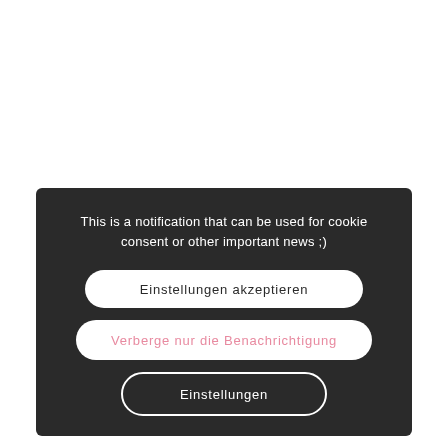[Figure (screenshot): A dark-themed cookie consent notification panel with three buttons: 'Einstellungen akzeptieren' (white filled rounded button), 'Verberge nur die Benachrichtigung' (white filled rounded button with pink text), and 'Einstellungen' (outlined rounded button with white text). The notification text reads: 'This is a notification that can be used for cookie consent or other important news ;)']